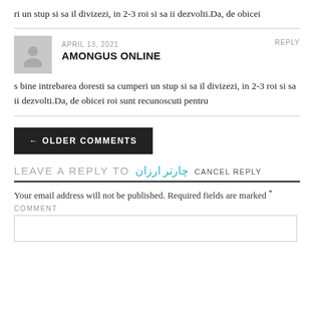ri un stup si sa il divizezi, in 2-3 roi si sa ii dezvolti.Da, de obicei
s bine intrebarea doresti sa cumperi un stup si sa il divizezi, in 2-3 roi si sa ii dezvolti.Da, de obicei roi sunt recunoscuti pentru
APRIL 13, 2021
AMONGUS ONLINE
← OLDER COMMENTS
LEAVE A REPLY TO چارتر ارزان CANCEL REPLY
Your email address will not be published. Required fields are marked *
COMMENT